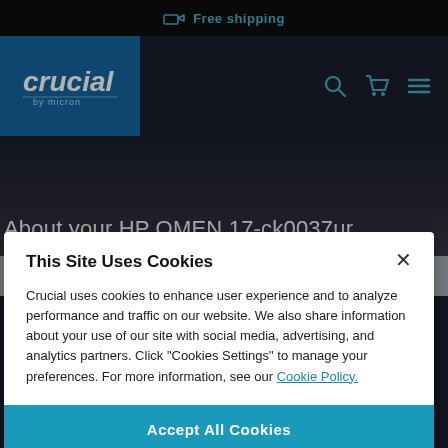Free shipping
[Figure (logo): Crucial by Micron logo on blue background]
About your HP OMEN 17-ck0037ur
Memory
This Site Uses Cookies
Crucial uses cookies to enhance user experience and to analyze performance and traffic on our website. We also share information about your use of our site with social media, advertising, and analytics partners. Click "Cookies Settings" to manage your preferences. For more information, see our Cookie Policy.
Accept All Cookies